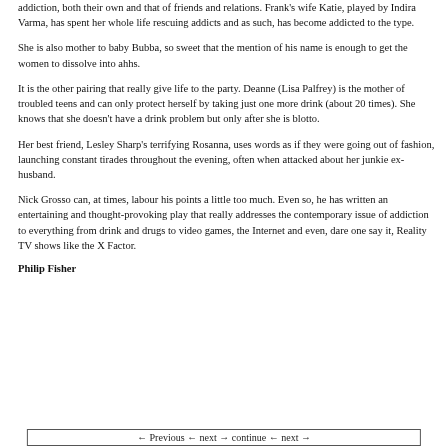addiction, both their own and that of friends and relations. Frank's wife Katie, played by Indira Varma, has spent her whole life rescuing addicts and as such, has become addicted to the type.
She is also mother to baby Bubba, so sweet that the mention of his name is enough to get the women to dissolve into ahhs.
It is the other pairing that really give life to the party. Deanne (Lisa Palfrey) is the mother of troubled teens and can only protect herself by taking just one more drink (about 20 times). She knows that she doesn't have a drink problem but only after she is blotto.
Her best friend, Lesley Sharp's terrifying Rosanna, uses words as if they were going out of fashion, launching constant tirades throughout the evening, often when attacked about her junkie ex-husband.
Nick Grosso can, at times, labour his points a little too much. Even so, he has written an entertaining and thought-provoking play that really addresses the contemporary issue of addiction to everything from drink and drugs to video games, the Internet and even, dare one say it, Reality TV shows like the X Factor.
Philip Fisher
Previous ← next → continue ← next →